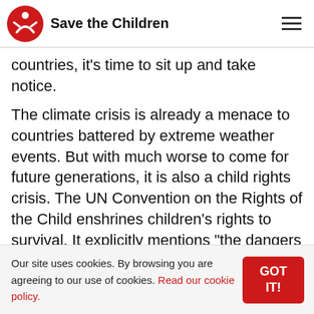Save the Children
countries, it’s time to sit up and take notice.
The climate crisis is already a menace to countries battered by extreme weather events. But with much worse to come for future generations, it is also a child rights crisis. The UN Convention on the Rights of the Child enshrines children’s rights to survival. It explicitly mentions “the dangers and risks of environmental pollution” including global
Our site uses cookies. By browsing you are agreeing to our use of cookies. Read our cookie policy.